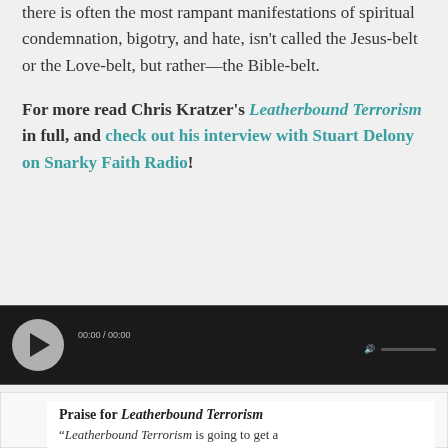there is often the most rampant manifestations of spiritual condemnation, bigotry, and hate, isn't called the Jesus-belt or the Love-belt, but rather—the Bible-belt.
For more read Chris Kratzer's Leatherbound Terrorism in full, and check out his interview with Stuart Delony on Snarky Faith Radio!
[Figure (other): Audio player widget with dark background, circular play button, time display showing 00:00 / 00:00, and volume control]
Praise for Leatherbound Terrorism
“Leatherbound Terrorism is going to get a